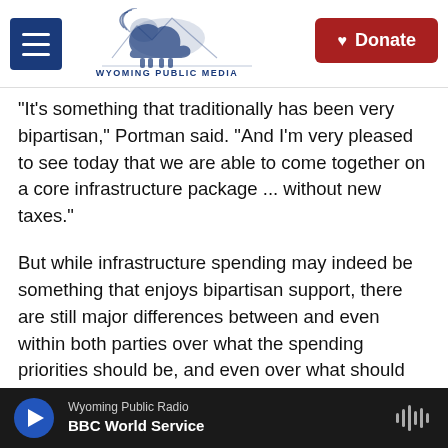Wyoming Public Media | Donate
"It's something that traditionally has been very bipartisan," Portman said. "And I'm very pleased to see today that we are able to come together on a core infrastructure package ... without new taxes."
But while infrastructure spending may indeed be something that enjoys bipartisan support, there are still major differences between and even within both parties over what the spending priorities should be, and even over what should be called "infrastructure."
Some wanted bigger and bolder
Wyoming Public Radio | BBC World Service